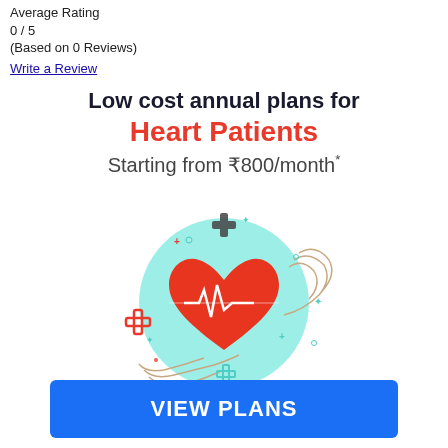Average Rating
0 / 5
(Based on 0 Reviews)
Write a Review
[Figure (illustration): Health insurance advertisement banner showing text 'Low cost annual plans for Heart Patients Starting from ₹800/month*' with an illustration of two hands cradling a teal circle containing a red heart with an EKG line, plus medical cross symbols]
VIEW PLANS